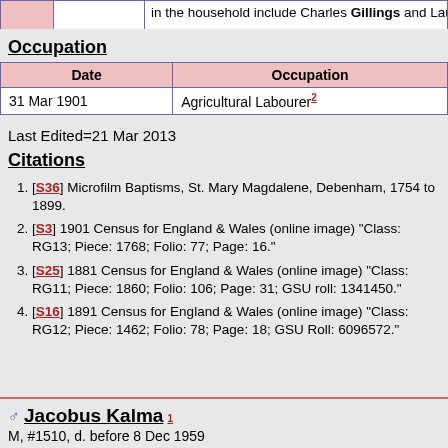in the household include Charles Gillings and Laura
Occupation
| Date | Occupation |
| --- | --- |
| 31 Mar 1901 | Agricultural Labourer2 |
Last Edited=21 Mar 2013
Citations
[S36] Microfilm Baptisms, St. Mary Magdalene, Debenham, 1754 to 1899.
[S3] 1901 Census for England & Wales (online image) "Class: RG13; Piece: 1768; Folio: 77; Page: 16."
[S25] 1881 Census for England & Wales (online image) "Class: RG11; Piece: 1860; Folio: 106; Page: 31; GSU roll: 1341450."
[S16] 1891 Census for England & Wales (online image) "Class: RG12; Piece: 1462; Folio: 78; Page: 18; GSU Roll: 6096572."
Jacobus Kalma
M, #1510, d. before 8 Dec 1959